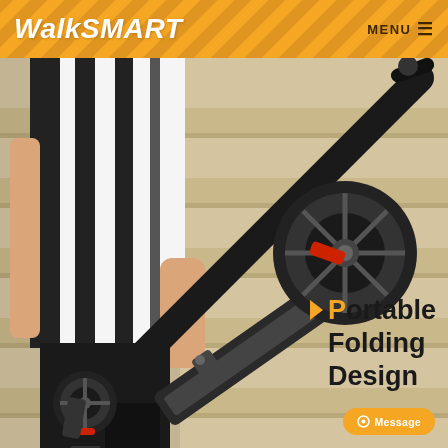WalkSMART  MENU ≡
[Figure (photo): A person carrying a folded black electric scooter, wearing black and white striped top and black pants, standing on beige stone steps. The scooter is folded flat and being held by its stem/handlebar area. The rear wheel with red accent is visible.]
Portable Folding Design
Message